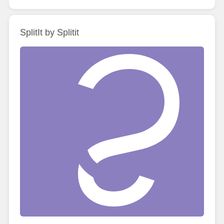SplitIt by Splitit
[Figure (logo): Splitit company logo: white letter S on a medium purple/periwinkle square background]